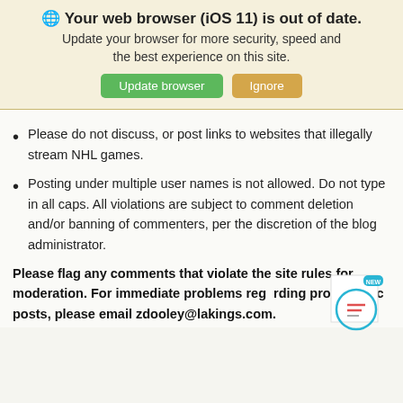🌐 Your web browser (iOS 11) is out of date. Update your browser for more security, speed and the best experience on this site.
Please do not discuss, or post links to websites that illegally stream NHL games.
Posting under multiple user names is not allowed. Do not type in all caps. All violations are subject to comment deletion and/or banning of commenters, per the discretion of the blog administrator.
Please flag any comments that violate the site rules for moderation. For immediate problems regarding problematic posts, please email zdooley@lakings.com.